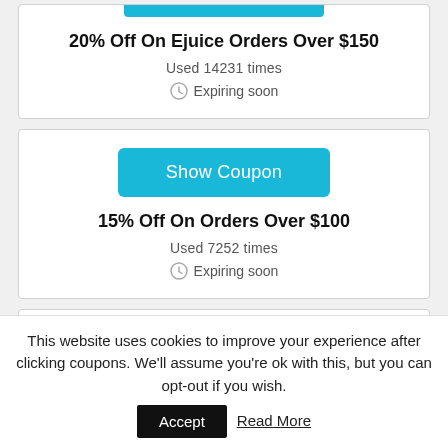20% Off On Ejuice Orders Over $150
Used 14231 times
Expiring soon
Show Coupon
15% Off On Orders Over $100
Used 7252 times
Expiring soon
This website uses cookies to improve your experience after clicking coupons. We'll assume you're ok with this, but you can opt-out if you wish.
Accept
Read More